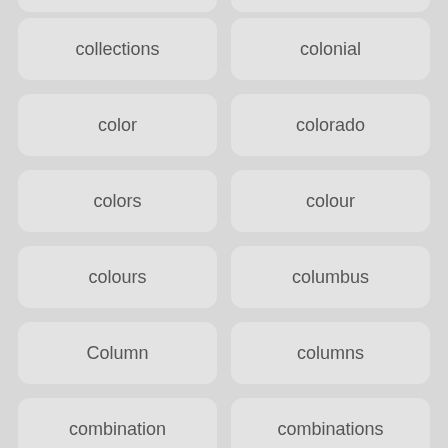collections
colonial
color
colorado
colors
colour
colours
columbus
Column
columns
combination
combinations
comfortable
coming
commercial
compactor
companies
company